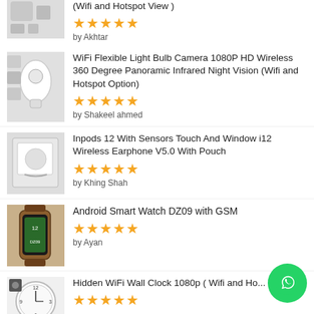[Figure (photo): Product image top partial - smart home device]
(Wifi and Hotspot View)
[Figure (infographic): 5 gold stars rating]
by Akhtar
[Figure (photo): WiFi light bulb camera product image]
WiFi Flexible Light Bulb Camera 1080P HD Wireless 360 Degree Panoramic Infrared Night Vision (Wifi and Hotspot Option)
[Figure (infographic): 5 gold stars rating]
by Shakeel ahmed
[Figure (photo): Inpods wireless earphone product image]
Inpods 12 With Sensors Touch And Window i12 Wireless Earphone V5.0 With Pouch
[Figure (infographic): 5 gold stars rating]
by Khing Shah
[Figure (photo): Android Smart Watch DZ09 product image]
Android Smart Watch DZ09 with GSM
[Figure (infographic): 5 gold stars rating]
by Ayan
[Figure (photo): Hidden WiFi Wall Clock product image]
Hidden WiFi Wall Clock 1080p ( Wifi and Ho... View )
[Figure (infographic): 5 gold stars rating (partial)]